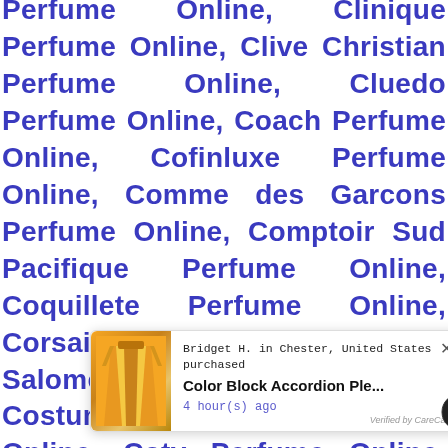Perfume Online, Clinique Perfume Online, Clive Christian Perfume Online, Cluedo Perfume Online, Coach Perfume Online, Cofinluxe Perfume Online, Comme des Garcons Perfume Online, Comptoir Sud Pacifique Perfume Online, Coquillete Perfume Online, Corsair Perfume Online, Coryse Salome Perfume Online, Costume National Perfume Online, Coty Perfume Online, Courreges Perfume Online, Courvoisier Perfume Online, Creed Perfume Online, Cristiano Ronaldo Perfume Online, Cuba Perfume Online, ... D'ors... Online, ... Daisy ... Fuentes Perfume Online, Dana Perfume Online
[Figure (screenshot): A popup notification showing: Bridget H. in Chester, United States purchased Color Block Accordion Ple... 4 hour(s) ago. Verified by CareCart. Shows image of orange/yellow pleated dress. Has a red badge showing 1 notification and a circular icon.]